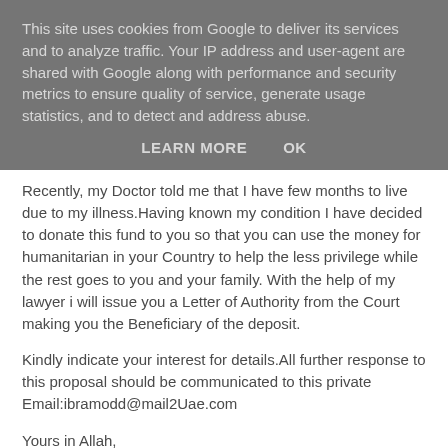This site uses cookies from Google to deliver its services and to analyze traffic. Your IP address and user-agent are shared with Google along with performance and security metrics to ensure quality of service, generate usage statistics, and to detect and address abuse.
LEARN MORE    OK
Recently, my Doctor told me that I have few months to live due to my illness.Having known my condition I have decided to donate this fund to you so that you can use the money for humanitarian in your Country to help the less privilege while the rest goes to you and your family. With the help of my lawyer i will issue you a Letter of Authority from the Court making you the Beneficiary of the deposit.
Kindly indicate your interest for details.All further response to this proposal should be communicated to this private Email:ibramodd@mail2Uae.com
Yours in Allah,
Mr. Ibrahim Mohammed